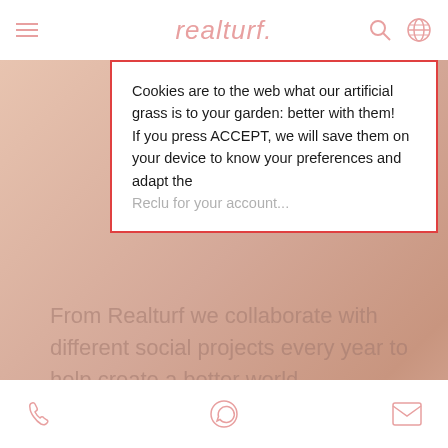realturf.
Cookies are to the web what our artificial grass is to your garden: better with them! If you press ACCEPT, we will save them on your device to know your preferences and adapt the [rest cut off]
From Realturf we collaborate with different social projects every year to help create a better world.
Lawns for non-profit associations
Cleaning of beaches and coasts
phone | whatsapp | email icons